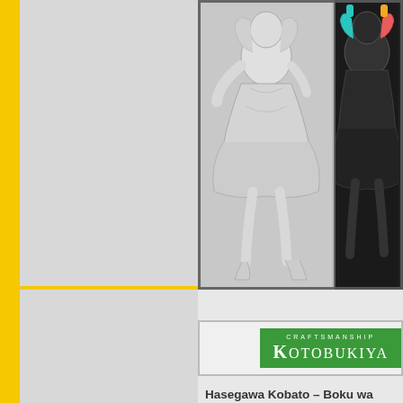[Figure (photo): White/gray unpainted figure sculpture of an anime character (Hasegawa Kobato) in a dynamic pose with flowing dress and high heels, shown against white background]
[Figure (photo): Colored version of the Hasegawa Kobato figure shown against dark background with colorful elements visible]
[Figure (logo): Kotobukiya Craftsmanship brand logo — green banner with white text reading CRAFTSMANSHIP above KOTOBUKIYA]
Hasegawa Kobato – Boku wa Tomodachi ga Sukunai NEXT
sculptor: no data – release date: 2013 ...
Actually the figure is an adaption of the the first season from Boku wa Tomoda... who cares about this minor detail, wh...